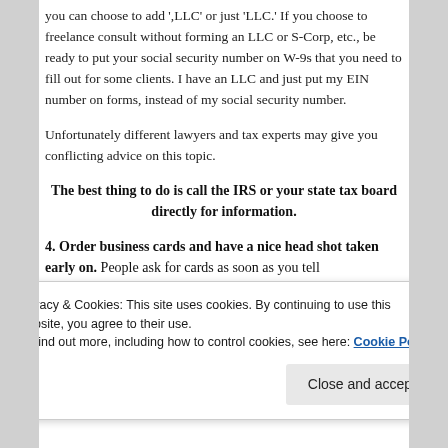you can choose to add ',LLC' or just 'LLC.' If you choose to freelance consult without forming an LLC or S-Corp, etc., be ready to put your social security number on W-9s that you need to fill out for some clients. I have an LLC and just put my EIN number on forms, instead of my social security number.
Unfortunately different lawyers and tax experts may give you conflicting advice on this topic.
The best thing to do is call the IRS or your state tax board directly for information.
4. Order business cards and have a nice head shot taken early on. People ask for cards as soon as you tell
Privacy & Cookies: This site uses cookies. By continuing to use this website, you agree to their use.
To find out more, including how to control cookies, see here: Cookie Policy